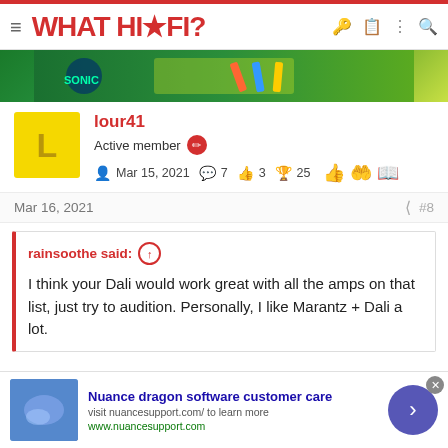WHAT HI·FI?
[Figure (photo): Colorful advertisement banner showing Sonic game and school supplies]
lour41
Active member
Mar 15, 2021  7  3  25
Mar 16, 2021  #8
rainsoothe said: ↑

I think your Dali would work great with all the amps on that list, just try to audition. Personally, I like Marantz + Dali a lot.
Nuance dragon software customer care
visit nuancesupport.com/ to learn more
www.nuancesupport.com